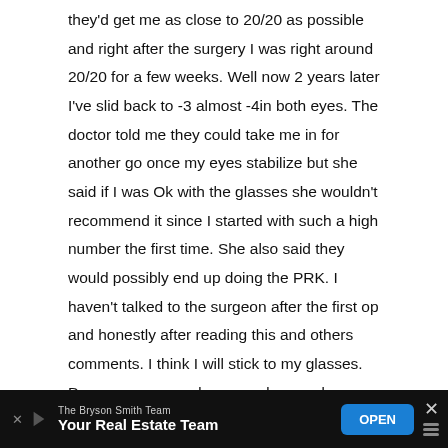they'd get me as close to 20/20 as possible and right after the surgery I was right around 20/20 for a few weeks. Well now 2 years later I've slid back to -3 almost -4in both eyes. The doctor told me they could take me in for another go once my eyes stabilize but she said if I was Ok with the glasses she wouldn't recommend it since I started with such a high number the first time. She also said they would possibly end up doing the PRK. I haven't talked to the surgeon after the first op and honestly after reading this and others comments. I think I will stick to my glasses. Dry eye comes and goes and some days things seem blurier than others. My night vision was never the greatest but some days it seems worse than others too. They want me to come back in a year to see where my eyes are….
[Figure (other): Advertisement banner: The Bryson Smith Team - Your Real Estate Team with OPEN button and close/weather icons]